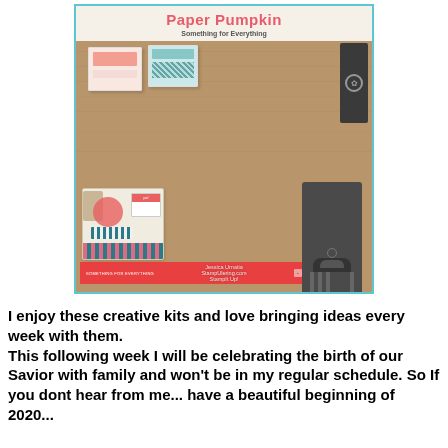[Figure (photo): Paper Pumpkin 'Something for Everything' kit promotional photo showing cardmaking supplies, a stacked gift bundle with striped ribbon and floral tags, a dark paper punch tool, and colorful card stacks on a wood background. Watermark reads: Jessica Urnatia StampUlering.com StampIt Up!]
I enjoy these creative kits and love bringing ideas every week with them.
This following week I will be celebrating the birth of our Savior with family and won't be in my regular schedule. So If you dont hear from me... have a beautiful beginning of 2020...